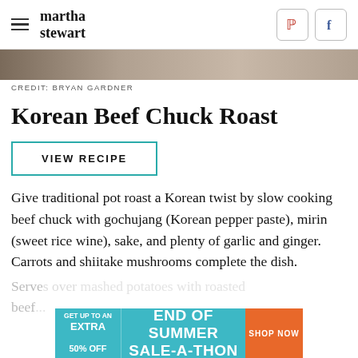martha stewart
[Figure (photo): Partial photo strip at top of page, appears to show food or a person]
CREDIT: BRYAN GARDNER
Korean Beef Chuck Roast
VIEW RECIPE
Give traditional pot roast a Korean twist by slow cooking beef chuck with gochujang (Korean pepper paste), mirin (sweet rice wine), sake, and plenty of garlic and ginger. Carrots and shiitake mushrooms complete the dish.
[Figure (infographic): Ad banner: GET UP TO AN EXTRA 50% OFF - END OF SUMMER SALE-A-THON - SHOP NOW]